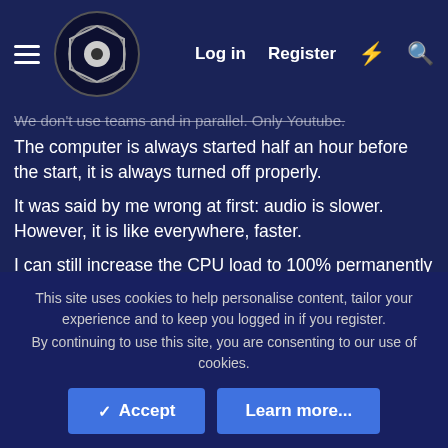OBS Forum — Log in | Register
...don't use teams and in parallel. Only Youtube.
The computer is always started half an hour before the start, it is always turned off properly.
It was said by me wrong at first: audio is slower. However, it is like everywhere, faster.
I can still increase the CPU load to 100% permanently by opening more programs, it does not end by overloading the temperature at 50%. But I have only 5 programs open, which utilize the CPU 30% to 40%.
USB utilization: No change has been made either. The grabber is connected directly and audio shares a hub with the
This site uses cookies to help personalise content, tailor your experience and to keep you logged in if you register.
By continuing to use this site, you are consenting to our use of cookies.